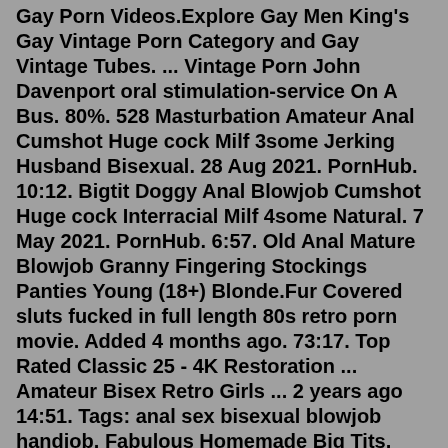Gay Porn Videos.Explore Gay Men King's Gay Vintage Porn Category and Gay Vintage Tubes. ... Vintage Porn John Davenport oral stimulation-service On A Bus. 80%. 528 Masturbation Amateur Anal Cumshot Huge cock Milf 3some Jerking Husband Bisexual. 28 Aug 2021. PornHub. 10:12. Bigtit Doggy Anal Blowjob Cumshot Huge cock Interracial Milf 4some Natural. 7 May 2021. PornHub. 6:57. Old Anal Mature Blowjob Granny Fingering Stockings Panties Young (18+) Blonde.Fur Covered sluts fucked in full length 80s retro porn movie. Added 4 months ago. 73:17. Top Rated Classic 25 - 4K Restoration ... Amateur Bisex Retro Girls ... 2 years ago 14:51. Tags: anal sex bisexual blowjob handjob. Fabulous Homemade Big Tits, Bisexual Hookup Movie. 4 years ago 24:00. Tags: bbw big boobs bisexual group sex. Mmf Bi-curious Bisexual Triangle (1969) 4 years ago 29:13. Tags: bisexual softcore threesome vintage. Angela Covello, Carla Brait, Conchita Airoldi. ©2017 Tube2017.com. All rights reserved. Webmasters Bisexual perverts